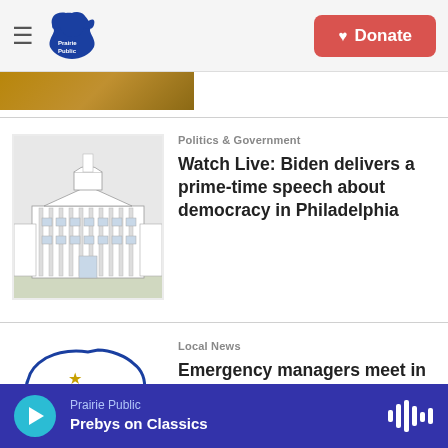Prairie Public — navigation header with Donate button
[Figure (logo): Prairie Public radio logo — blue bird/beak shape with Prairie Public text]
[Figure (photo): Partial cropped photograph visible at top of page]
Politics & Government
[Figure (illustration): Line drawing illustration of the White House]
Watch Live: Biden delivers a prime-time speech about democracy in Philadelphia
Local News
[Figure (logo): NDDES Homeland Security State Radio logo — outline of North Dakota with stars and circular text]
Emergency managers meet in Bismarck
Local News
[Figure (photo): Partial photo of a person wearing glasses]
Prairie Public — Prebys on Classics — audio player bar